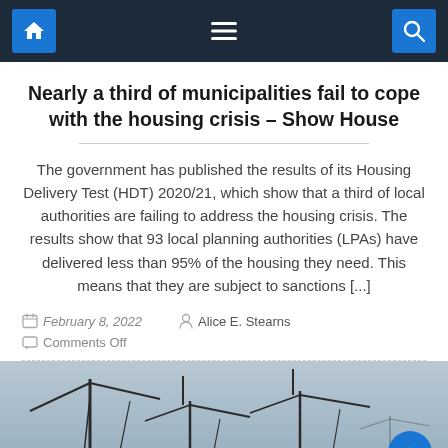Navigation bar with home, menu, and search icons
Nearly a third of municipalities fail to cope with the housing crisis – Show House
The government has published the results of its Housing Delivery Test (HDT) 2020/21, which show that a third of local authorities are failing to address the housing crisis. The results show that 93 local planning authorities (LPAs) have delivered less than 95% of the housing they need. This means that they are subject to sanctions [...]
February 8, 2022   Alice E. Stearns   Comments Off
[Figure (photo): Construction cranes against a grey/blue sky]